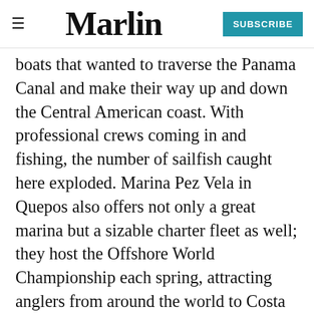≡ Marlin SUBSCRIBE
boats that wanted to traverse the Panama Canal and make their way up and down the Central American coast. With professional crews coming in and fishing, the number of sailfish caught here exploded. Marina Pez Vela in Quepos also offers not only a great marina but a sizable charter fleet as well; they host the Offshore World Championship each spring, attracting anglers from around the world to Costa Rica. With unusually calm water and large numbers of sails close to